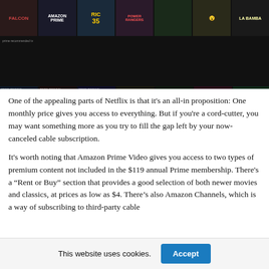[Figure (screenshot): Amazon Prime Video streaming interface showing movie and TV show thumbnails in two rows including titles like Hanna, Bosch, Jack Ryan, Cracker, House, Psych, La Bamba, and others.]
One of the appealing parts of Netflix is that it's an all-in proposition: One monthly price gives you access to everything. But if you're a cord-cutter, you may want something more as you try to fill the gap left by your now-canceled cable subscription.
It's worth noting that Amazon Prime Video gives you access to two types of premium content not included in the $119 annual Prime membership. There's a “Rent or Buy” section that provides a good selection of both newer movies and classics, at prices as low as $4. There’s also Amazon Channels, which is a way of subscribing to third-party cable
This website uses cookies.